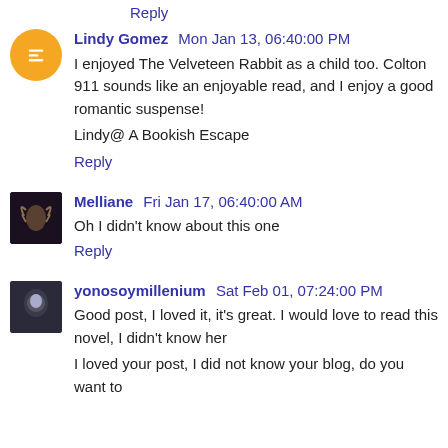Reply
Lindy Gomez  Mon Jan 13, 06:40:00 PM
I enjoyed The Velveteen Rabbit as a child too. Colton 911 sounds like an enjoyable read, and I enjoy a good romantic suspense!
Lindy@ A Bookish Escape
Reply
Melliane  Fri Jan 17, 06:40:00 AM
Oh I didn't know about this one
Reply
yonosoymillenium  Sat Feb 01, 07:24:00 PM
Good post, I loved it, it's great. I would love to read this novel, I didn't know her
I loved your post, I did not know your blog, do you want to